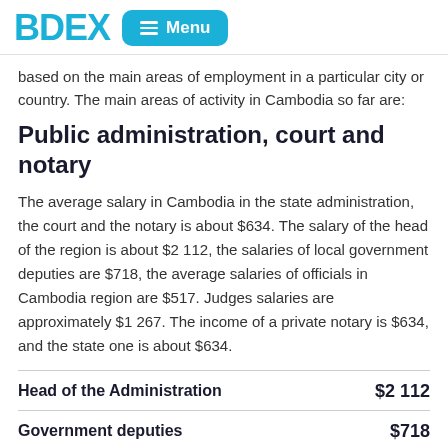BDEX Menu
based on the main areas of employment in a particular city or country. The main areas of activity in Cambodia so far are:
Public administration, court and notary
The average salary in Cambodia in the state administration, the court and the notary is about $634. The salary of the head of the region is about $2 112, the salaries of local government deputies are $718, the average salaries of officials in Cambodia region are $517. Judges salaries are approximately $1 267. The income of a private notary is $634, and the state one is about $634.
| Role | Salary |
| --- | --- |
| Head of the Administration | $2 112 |
| Government deputies | $718 |